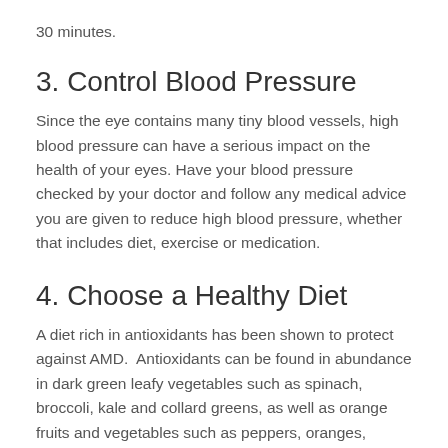30 minutes.
3. Control Blood Pressure
Since the eye contains many tiny blood vessels, high blood pressure can have a serious impact on the health of your eyes. Have your blood pressure checked by your doctor and follow any medical advice you are given to reduce high blood pressure, whether that includes diet, exercise or medication.
4. Choose a Healthy Diet
A diet rich in antioxidants has been shown to protect against AMD.  Antioxidants can be found in abundance in dark green leafy vegetables such as spinach, broccoli, kale and collard greens, as well as orange fruits and vegetables such as peppers, oranges, mango and cantaloupe.  Eating a wide range of fresh fruits and vegetables, 5-9 servings a day, as well as fish, which contain Omega-3, and avoiding sugar and processed foods will help to keep your body healthy in many ways, including reducing your risk of